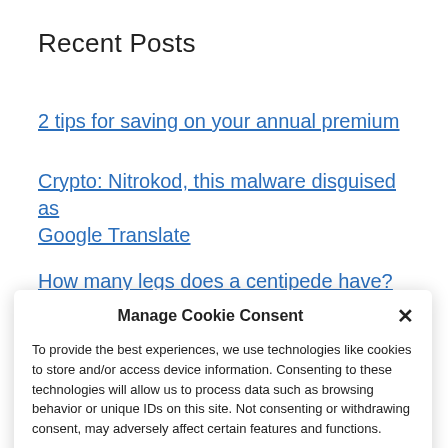Recent Posts
2 tips for saving on your annual premium
Crypto: Nitrokod, this malware disguised as Google Translate
How many legs does a centipede have?
Manage Cookie Consent
To provide the best experiences, we use technologies like cookies to store and/or access device information. Consenting to these technologies will allow us to process data such as browsing behavior or unique IDs on this site. Not consenting or withdrawing consent, may adversely affect certain features and functions.
Accept